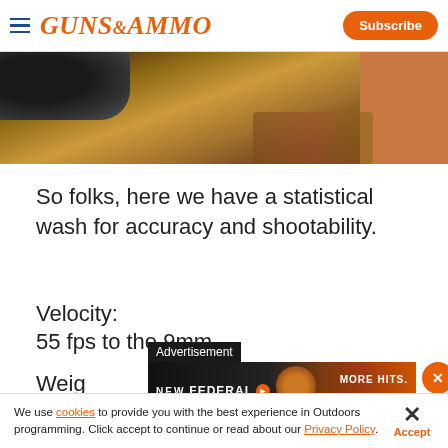GUNS&AMMO | Subscribe
[Figure (photo): Close-up photo of a wooden surface with dark glove visible at top left corner]
So folks, here we have a statistical wash for accuracy and shootability.
Velocity:
55 fps to the 9mm
Weig
[Figure (infographic): Advertisement banner: NEW FEDERAL MORE HITS. with close and scroll buttons]
We use cookies to provide you with the best experience in Outdoors programming. Click accept to continue or read about our Privacy Policy.